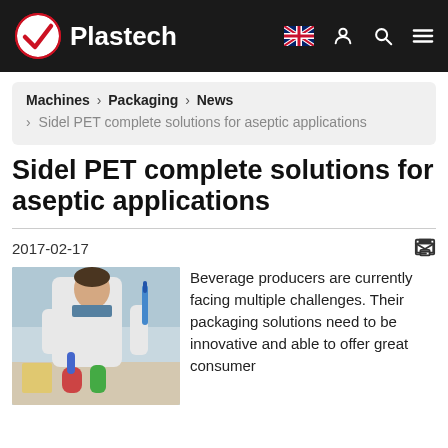Plastech — navigation bar with logo, UK flag, user, search, menu icons
Machines › Packaging › News › Sidel PET complete solutions for aseptic applications
Sidel PET complete solutions for aseptic applications
2017-02-17
[Figure (photo): A male scientist or technician in a white lab coat, working with laboratory equipment and coloured liquids in a lab setting.]
Beverage producers are currently facing multiple challenges. Their packaging solutions need to be innovative and able to offer great consumer